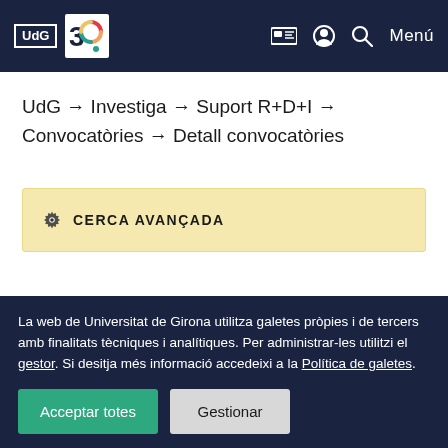UdG 30 | Menú
UdG → Investiga → Suport R+D+I → Convocatòries → Detall convocatòries
⚙ CERCA AVANÇADA
La web de Universitat de Girona utilitza galetes pròpies i de tercers amb finalitats tècniques i analítiques. Per administrar-les utilitzi el gestor. Si desitja més informació accedeixi a la Política de galetes.
Acceptar totes | Gestionar